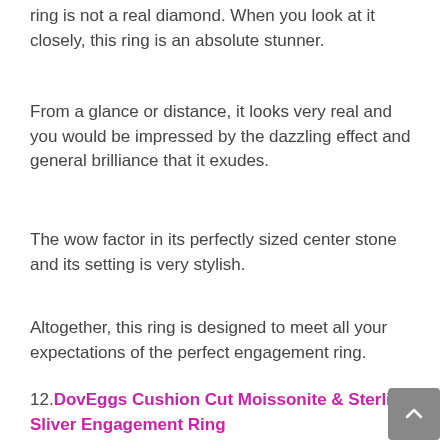ring is not a real diamond. When you look at it closely, this ring is an absolute stunner.
From a glance or distance, it looks very real and you would be impressed by the dazzling effect and general brilliance that it exudes.
The wow factor in its perfectly sized center stone and its setting is very stylish.
Altogether, this ring is designed to meet all your expectations of the perfect engagement ring.
12. DovEggs Cushion Cut Moissonite & Sterling Sliver Engagement Ring